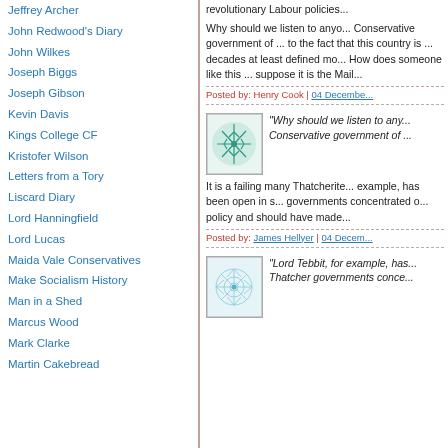Jeffrey Archer
John Redwood's Diary
John Wilkes
Joseph Biggs
Joseph Gibson
Kevin Davis
Kings College CF
Kristofer Wilson
Letters from a Tory
Liscard Diary
Lord Hanningfield
Lord Lucas
Maida Vale Conservatives
Make Socialism History
Man in a Shed
Marcus Wood
Mark Clarke
Martin Cakebread
revolutionary Labour policies...
Why should we listen to anyone who served in the Conservative government of ... to the fact that this country is ... decades at least defined mo... How does someone like this ... suppose it is the Mail...
Posted by: Henry Cook | 04 Decembe...
[Figure (illustration): Teal/green avatar icon with leaf/snowflake pattern]
"Why should we listen to any... Conservative government of ...
It is a failing many Thatcherite... example, has been open in s... governments concentrated o... policy and should have made...
Posted by: James Hellyer | 04 Decem...
[Figure (illustration): Light blue avatar icon with web/network pattern]
"Lord Tebbit, for example, has... Thatcher governments conce...